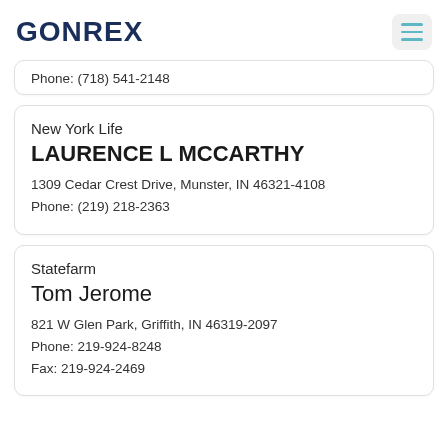GONREX
Phone: (718) 541-2148
New York Life
LAURENCE L MCCARTHY
1309 Cedar Crest Drive, Munster, IN 46321-4108
Phone: (219) 218-2363
Statefarm
Tom Jerome
821 W Glen Park, Griffith, IN 46319-2097
Phone: 219-924-8248
Fax: 219-924-2469